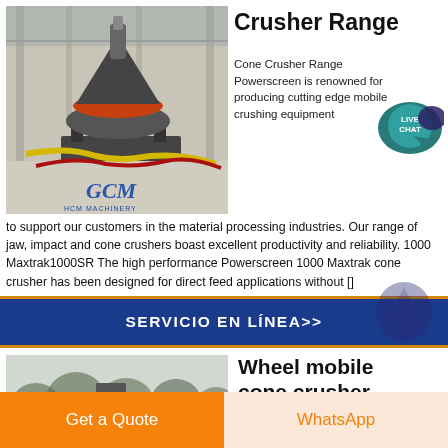[Figure (photo): Industrial cone crusher machine in a factory/warehouse setting with GCM Machinery branding visible]
Crusher Range
[Figure (other): Live Chat button badge (teal/dark blue circular badge with chat bubble)]
Cone Crusher Range Powerscreen is renowned for producing cutting edge mobile crushing equipment to support our customers in the material processing industries. Our range of jaw, impact and cone crushers boast excellent productivity and reliability. 1000 Maxtrak1000SR The high performance Powerscreen 1000 Maxtrak cone crusher has been designed for direct feed applications without []
SERVICIO EN LÍNEA>>
[Figure (photo): Outdoor landscape with trees and foggy background showing a wheeled mobile cone crusher machine]
Wheel mobile cone crusher
Get a Quote
WhatsApp